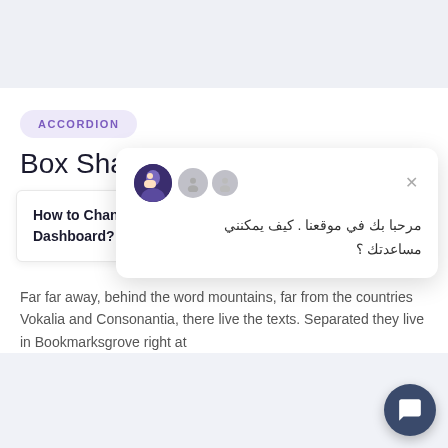[Figure (screenshot): Top navigation/header area with light grey background]
ACCORDION
Box Shadow Style
How to Change my Profile Photo on Dashboard?
[Figure (screenshot): Chat popup widget with Arabic text: مرحبا بك في موقعنا . كيف يمكنني مساعدتك ؟ and user avatars with close button]
Far far away, behind the word mountains, far from the countries Vokalia and Consonantia, there live the texts. Separated they live in Bookmarksgrove right at
[Figure (screenshot): Dark blue circular chat FAB button in bottom right corner]